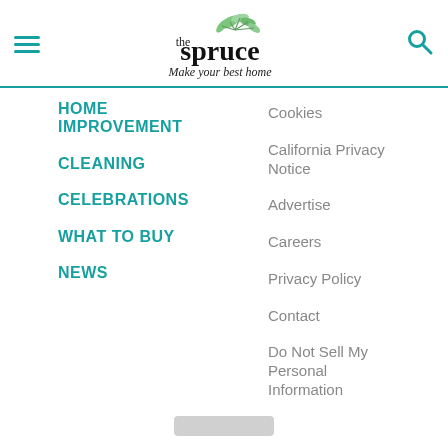[Figure (logo): The Spruce logo with leaf illustration and tagline 'Make your best home']
HOME IMPROVEMENT
CLEANING
CELEBRATIONS
WHAT TO BUY
NEWS
Cookies
California Privacy Notice
Advertise
Careers
Privacy Policy
Contact
Do Not Sell My Personal Information